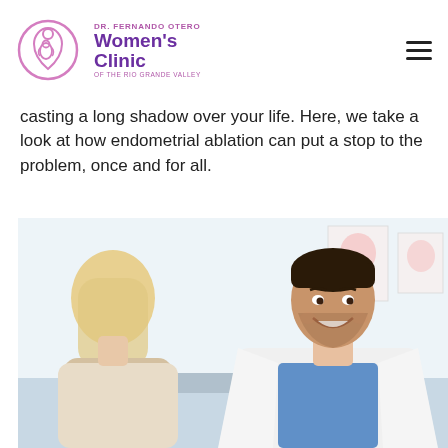DR. FERNANDO OTERO Women's Clinic OF THE RIO GRANDE VALLEY
casting a long shadow over your life. Here, we take a look at how endometrial ablation can put a stop to the problem, once and for all.
[Figure (photo): A smiling male doctor in a white coat and blue scrubs talking with a female patient with blonde hair, in a medical office with anatomical posters on the wall in the background.]